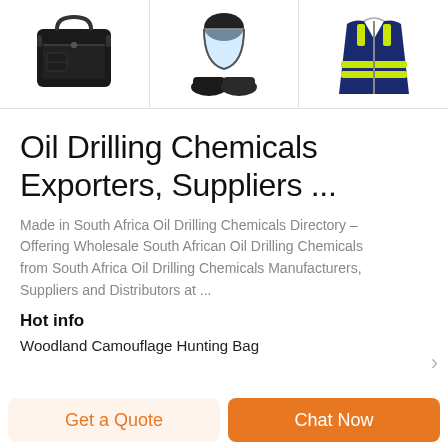[Figure (photo): Three product images in a horizontal strip: a black tactical bag, a face shield with shoe covers, and a navy blue safety vest with reflective stripes.]
Oil Drilling Chemicals Exporters, Suppliers ...
Made in South Africa Oil Drilling Chemicals Directory – Offering Wholesale South African Oil Drilling Chemicals from South Africa Oil Drilling Chemicals Manufacturers, Suppliers and Distributors at ...
Hot info
Woodland Camouflage Hunting Bag